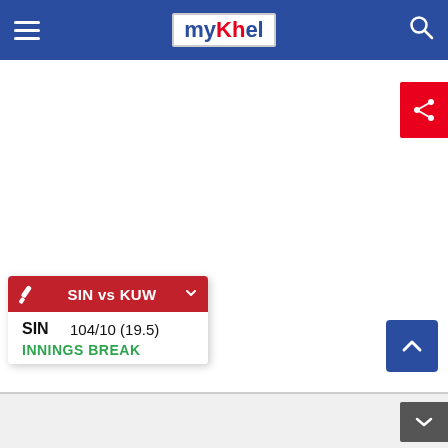myKhel navigation bar with hamburger menu, myKhel logo, and search icon
[Figure (screenshot): Red share button with share icon on right side]
[Figure (screenshot): Cricket score widget showing SIN vs KUW, SIN 104/10 (19.5), INNINGS BREAK]
[Figure (screenshot): Blue up-arrow button on right side]
[Figure (screenshot): Gray down-arrow button on right side]
SIN vs KUW
SIN  104/10 (19.5)
INNINGS BREAK